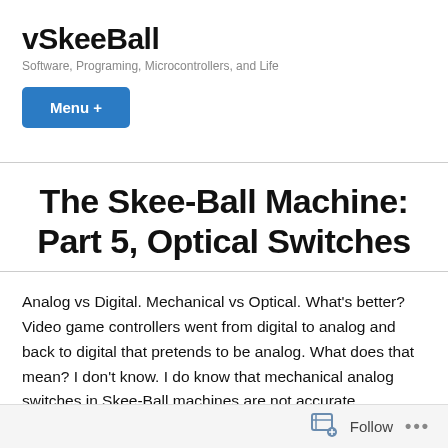vSkeeBall
Software, Programing, Microcontrollers, and Life
Menu +
The Skee-Ball Machine: Part 5, Optical Switches
Analog vs Digital. Mechanical vs Optical. What's better? Video game controllers went from digital to analog and back to digital that pretends to be analog. What does that mean? I don't know. I do know that mechanical analog switches in Skee-Ball machines are not accurate
Follow ...